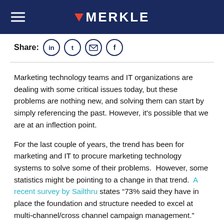MERKLE
Share:
Marketing technology teams and IT organizations are dealing with some critical issues today, but these problems are nothing new, and solving them can start by simply referencing the past. However, it’s possible that we are at an inflection point.
For the last couple of years, the trend has been for marketing and IT to procure marketing technology systems to solve some of their problems. However, some statistics might be pointing to a change in that trend. A recent survey by Sailthru states “73% said they have in place the foundation and structure needed to excel at multi-channel/cross channel campaign management.”  Another survey from the CMO Council says “only 3 percent of